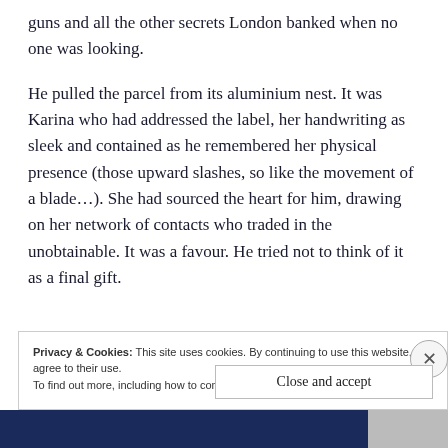guns and all the other secrets London banked when no one was looking.
He pulled the parcel from its aluminium nest. It was Karina who had addressed the label, her handwriting as sleek and contained as he remembered her physical presence (those upward slashes, so like the movement of a blade...). She had sourced the heart for him, drawing on her network of contacts who traded in the unobtainable. It was a favour. He tried not to think of it as a final gift.
Privacy & Cookies: This site uses cookies. By continuing to use this website, you agree to their use.
To find out more, including how to control cookies, see here: Cookie Policy